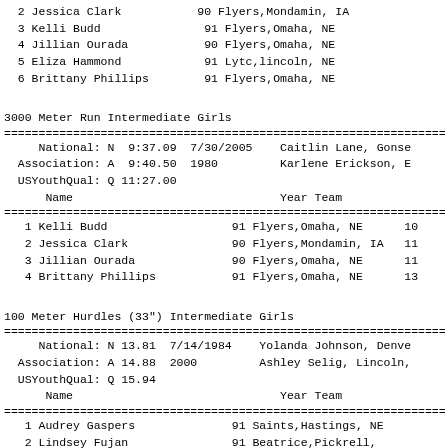| Place | Name | Year | Team | Result |
| --- | --- | --- | --- | --- |
| 2 | Jessica Clark | 90 | Flyers,Mondamin, IA |  |
| 3 | Kelli Budd | 91 | Flyers,Omaha, NE |  |
| 4 | Jillian Ourada | 90 | Flyers,Omaha, NE |  |
| 5 | Eliza Hammond | 91 | Lytc,lincoln, NE |  |
| 6 | Brittany Phillips | 91 | Flyers,Omaha, NE |  |
3000 Meter Run Intermediate Girls
| Name | Year | Team | Result |
| --- | --- | --- | --- |
| National: N  9:37.09  7/30/2005  Caitlin Lane, Gonse |  |  |  |
| Association: A  9:40.50  1980      Karlene Erickson, E |  |  |  |
| USYouthQual: Q 11:27.00 |  |  |  |
| 1 Kelli Budd | 91 | Flyers,Omaha, NE | 10 |
| 2 Jessica Clark | 90 | Flyers,Mondamin, IA | 11 |
| 3 Jillian Ourada | 90 | Flyers,Omaha, NE | 11 |
| 4 Brittany Phillips | 91 | Flyers,Omaha, NE | 13 |
100 Meter Hurdles (33") Intermediate Girls
| Name | Year | Team | Result |
| --- | --- | --- | --- |
| National: N 13.81  7/14/1984  Yolanda Johnson, Denve |  |  |  |
| Association: A 14.88  2000      Ashley Selig, Lincoln, |  |  |  |
| USYouthQual: Q 15.94 |  |  |  |
| 1 Audrey Gaspers | 91 | Saints,Hastings, NE |  |
| 2 Lindsey Fujan | 91 | Beatrice,Pickrell, |  |
| 3 Stephanie Juarez | 91 | Breeze |  |
| 4 McKenna Slack | 91 | Jets,Lincoln, NE |  |
| 5 Lindsey Moore | 90 | Flyers,Elkhorn, NE |  |